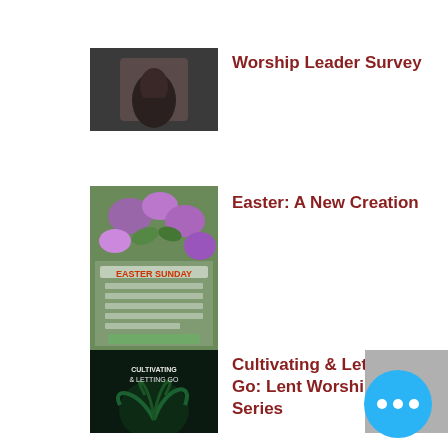[Figure (photo): Person praying with hands clasped, dark background]
Worship Leader Survey
[Figure (photo): Easter Sunday church service flyer with purple flowers]
Easter: A New Creation
[Figure (photo): Cultivating & Letting Go dark green plant background image]
Cultivating & Letting Go: Lent Worship Series